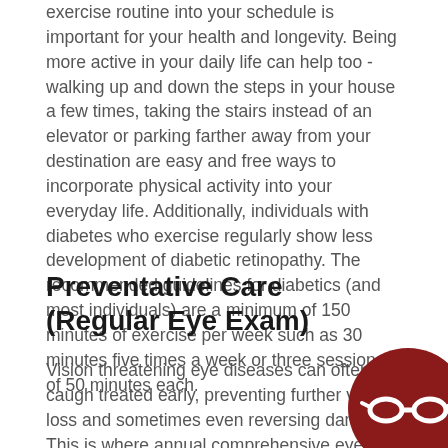exercise routine into your schedule is important for your health and longevity. Being more active in your daily life can help too - walking up and down the steps in your house a few times, taking the stairs instead of an elevator or parking farther away from your destination are easy and free ways to incorporate physical activity into your everyday life. Additionally, individuals with diabetes who exercise regularly show less development of diabetic retinopathy. The recommended guidelines for diabetics (and most individuals) are a minimum of 150 minutes of exercise per week such as 30 minutes five times a week or three sessions of 50 minutes each.
Preventative Care (Regular Eye Exam)
Vision threatening eye diseases can often be caught treated early, preventing further vision loss and sometimes even reversing damage. This is where annual comprehensive eye exams are key. You don't want to
[Figure (logo): Dark red circular logo with a white eyeglasses/spectacles icon in the center]